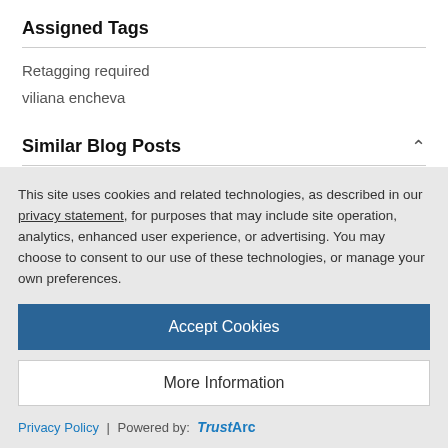Assigned Tags
Retagging required
viliana encheva
Similar Blog Posts
SAP NetWeaver Composition Environment 7.1 available unrestrictedly
This site uses cookies and related technologies, as described in our privacy statement, for purposes that may include site operation, analytics, enhanced user experience, or advertising. You may choose to consent to our use of these technologies, or manage your own preferences.
Accept Cookies
More Information
Privacy Policy | Powered by: TrustArc